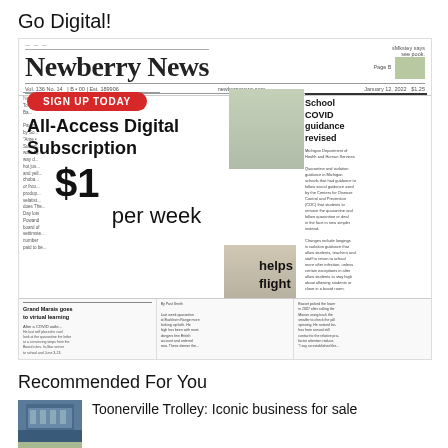Go Digital!
[Figure (screenshot): Newberry News newspaper front page with an overlay advertisement showing 'SIGN UP TODAY' button, 'All-Access Digital Subscription', '$1 per week' pricing, and partial newspaper content including 'School COVID guidance revised' headline]
Recommended For You
[Figure (photo): Thumbnail photo of the Toonerville Trolley, a blue trolley/train car at a station]
Toonerville Trolley: Iconic business for sale
[Figure (photo): Thumbnail photo for a second recommended article, partially visible]